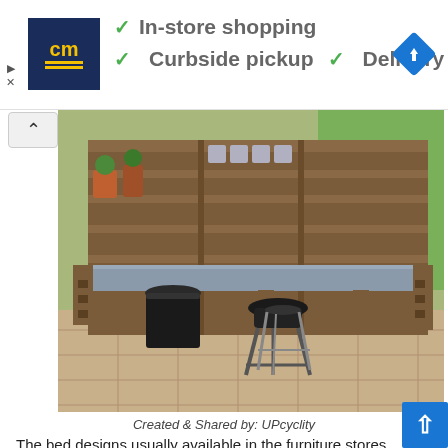[Figure (infographic): Advertisement banner for 'cm' store showing checkmarks for In-store shopping, Curbside pickup, and Delivery, with navigation icon]
[Figure (photo): Outdoor pallet bar/kitchen made from wooden pallets with a gray countertop, shelving unit behind, a black trash bin, a barbecue grill, and a stool underneath, on a patio with grass in background]
Created & Shared by: UPcyclity
The bed designs usually available in the furniture stores are not unique and they never make the room attractive, so it is better to create a bed at home like the bed...